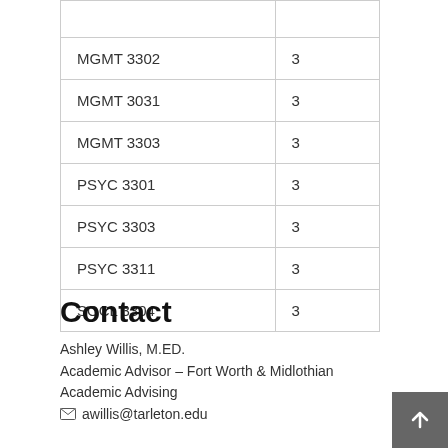|  |  |
| MGMT 3302 | 3 |
| MGMT 3031 | 3 |
| MGMT 3303 | 3 |
| PSYC 3301 | 3 |
| PSYC 3303 | 3 |
| PSYC 3311 | 3 |
| SOCL 3304 | 3 |
Contact
Ashley Willis, M.ED.
Academic Advisor – Fort Worth & Midlothian
Academic Advising
awillis@tarleton.edu